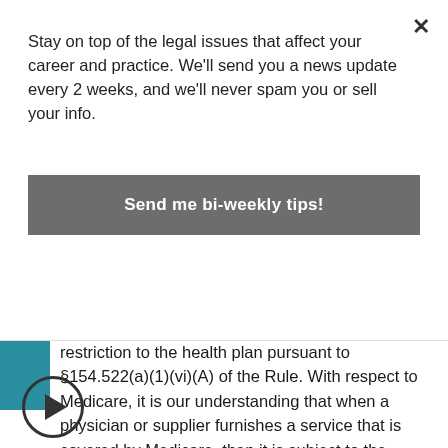Stay on top of the legal issues that affect your career and practice. We'll send you a news update every 2 weeks, and we'll never spam you or sell your info.
Send me bi-weekly tips!
restriction to the health plan pursuant to §154.522(a)(1)(vi)(A) of the Rule. With respect to Medicare, it is our understanding that when a physician or supplier furnishes a service that is covered by Medicare, then it is subject to the mandatory claim submission provisions of section 1848(g)(4) of the Social Security Act (the Act), which requires that if a physician or supplier charges or attempts to charge a beneficiary any remuneration for a service that is covered by Medicare, then